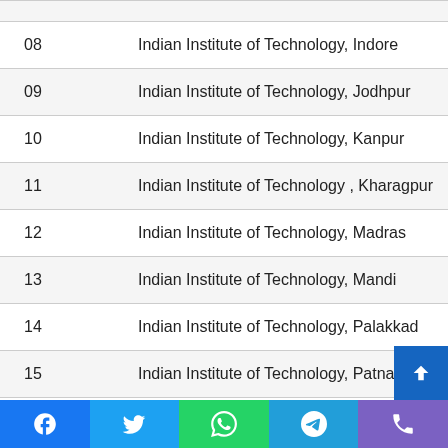| No. | Name |
| --- | --- |
| 08 | Indian Institute of Technology, Indore |
| 09 | Indian Institute of Technology, Jodhpur |
| 10 | Indian Institute of Technology, Kanpur |
| 11 | Indian Institute of Technology , Kharagpur |
| 12 | Indian Institute of Technology, Madras |
| 13 | Indian Institute of Technology, Mandi |
| 14 | Indian Institute of Technology, Palakkad |
| 15 | Indian Institute of Technology, Patna |
| 16 | Indian Institute of Technology, Roorkee |